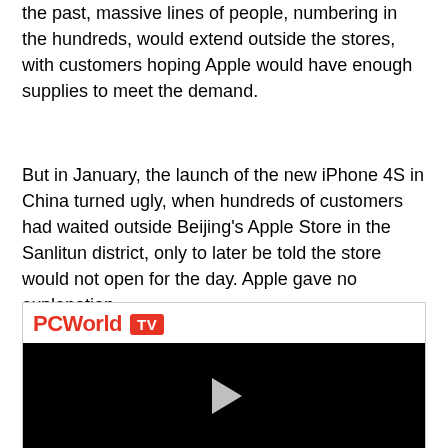the past, massive lines of people, numbering in the hundreds, would extend outside the stores, with customers hoping Apple would have enough supplies to meet the demand.
But in January, the launch of the new iPhone 4S in China turned ugly, when hundreds of customers had waited outside Beijing's Apple Store in the Sanlitun district, only to later be told the store would not open for the day. Apple gave no explanation.
[Figure (other): PCWorld TV video player embed with black screen and play button]